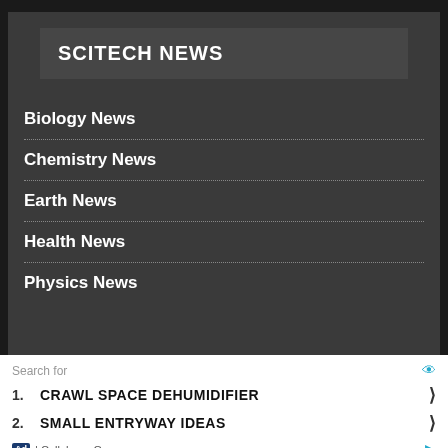SCITECH NEWS
Biology News
Chemistry News
Earth News
Health News
Physics News
Search for
1. CRAWL SPACE DEHUMIDIFIER
2. SMALL ENTRYWAY IDEAS
Ad | Cellphone Guru